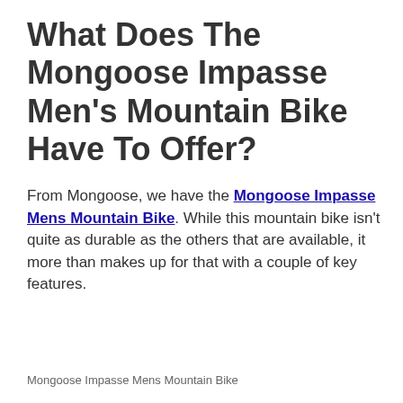What Does The Mongoose Impasse Men's Mountain Bike Have To Offer?
From Mongoose, we have the Mongoose Impasse Mens Mountain Bike. While this mountain bike isn't quite as durable as the others that are available, it more than makes up for that with a couple of key features.
Mongoose Impasse Mens Mountain Bike